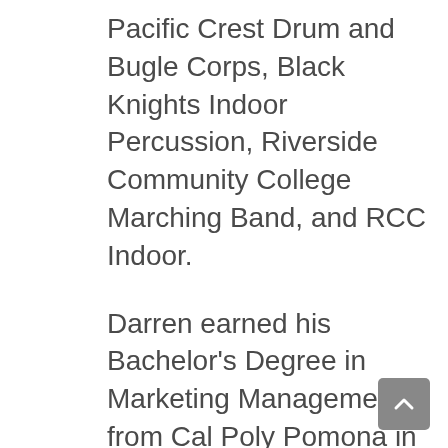Pacific Crest Drum and Bugle Corps, Black Knights Indoor Percussion, Riverside Community College Marching Band, and RCC Indoor.
Darren earned his Bachelor's Degree in Marketing Management from Cal Poly Pomona in 2013. He currently serves as the co-director of Sidle